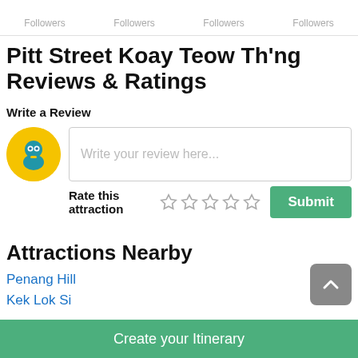Followers  Followers  Followers  Followers
Pitt Street Koay Teow Th'ng Reviews & Ratings
Write a Review
Write your review here...
Rate this attraction ☆ ☆ ☆ ☆ ☆
Attractions Nearby
Penang Hill
Kek Lok Si
Create your Itinerary